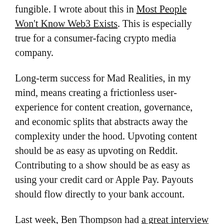fungible. I wrote about this in Most People Won't Know Web3 Exists. This is especially true for a consumer-facing crypto media company.
Long-term success for Mad Realities, in my mind, means creating a frictionless user-experience for content creation, governance, and economic splits that abstracts away the complexity under the hood. Upvoting content should be as easy as upvoting on Reddit. Contributing to a show should be as easy as using your credit card or Apple Pay. Payouts should flow directly to your bank account.
Last week, Ben Thompson had a great interview with Adam Mosseri, the CEO of Instagram. I particularly agree with one thing Ben said:
The stack should be 98% Web2 technologies and like